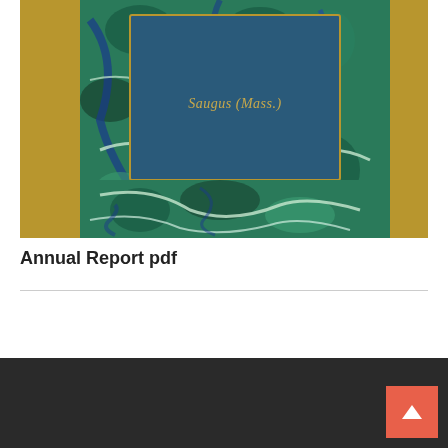[Figure (illustration): Book cover image with marbled green and blue pattern border, gold/tan textured side panels, and a dark teal/navy blue center rectangle containing the text 'Saugus (Mass.)' in a light tan/gold italic serif font.]
Annual Report pdf
Back to top button with upward arrow on dark footer bar